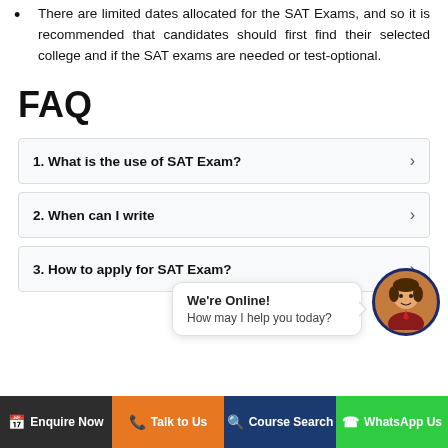There are limited dates allocated for the SAT Exams, and so it is recommended that candidates should first find their selected college and if the SAT exams are needed or test-optional.
FAQ
1. What is the use of SAT Exam?
2. When can I write...
3. How to apply for SAT Exam?
[Figure (other): Chat widget showing 'We're Online! How may I help you today?' with avatar]
Enquire Now  Talk to Us  Course Search  WhatsApp Us